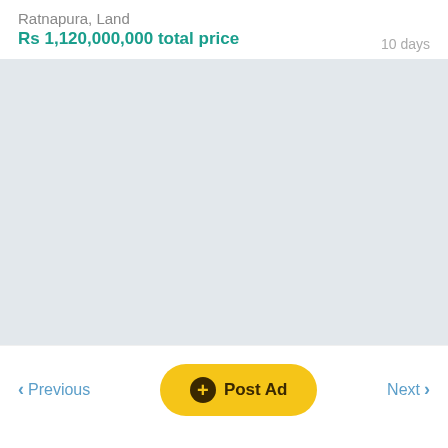Ratnapura, Land
Rs 1,120,000,000 total price
10 days
[Figure (photo): Light gray placeholder image area]
< Previous
+ Post Ad
Next >